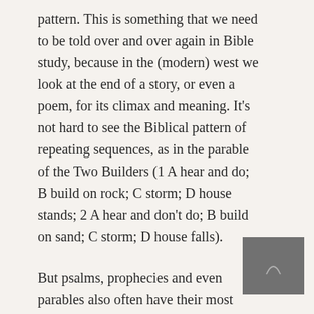pattern. This is something that we need to be told over and over again in Bible study, because in the (modern) west we look at the end of a story, or even a poem, for its climax and meaning. It's not hard to see the Biblical pattern of repeating sequences, as in the parable of the Two Builders (1 A hear and do; B build on rock; C storm; D house stands; 2 A hear and don't do; B build on sand; C storm; D house falls).
But psalms, prophecies and even parables also often have their most significant verse in the centre, with other sentences neatly patterned around it. Bailey brings out these
[Figure (photo): Small dark grey thumbnail image with a faint arc or curve shape visible in the centre]